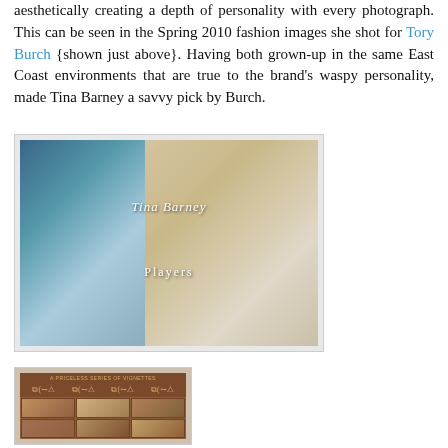aesthetically creating a depth of personality with every photograph. This can be seen in the Spring 2010 fashion images she shot for Tory Burch {shown just above}. Having both grown-up in the same East Coast environments that are true to the brand's waspy personality, made Tina Barney a savvy pick by Burch.
[Figure (photo): Book cover for 'Tina Barney: Players' showing two panels - left panel with a costumed figure against blue curtains, right panel with a young blonde woman in white dress holding a snake, with text overlay reading 'Tina Barney Players']
[Figure (photo): Book or film cover with dark reddish-brown background, award laurel brackets across the top, and a grid of six small photographs below]